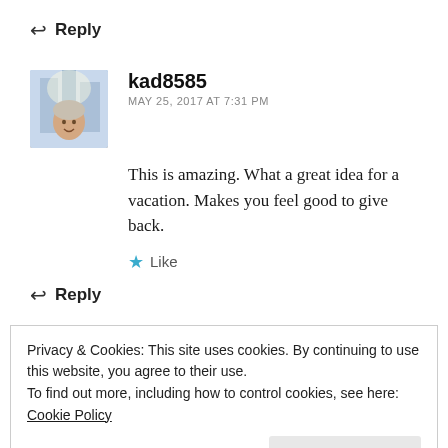↩ Reply
[Figure (photo): Avatar/profile photo of user kad8585, showing a person outdoors with buildings in background]
kad8585
MAY 25, 2017 AT 7:31 PM
This is amazing. What a great idea for a vacation. Makes you feel good to give back.
★ Like
↩ Reply
Privacy & Cookies: This site uses cookies. By continuing to use this website, you agree to their use.
To find out more, including how to control cookies, see here:
Cookie Policy
Close and accept